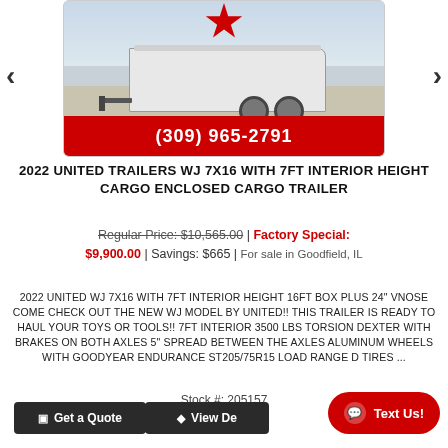[Figure (photo): White enclosed cargo trailer photograph with phone number bar showing (309) 965-2791 in red at bottom]
2022 UNITED TRAILERS WJ 7X16 WITH 7FT INTERIOR HEIGHT CARGO ENCLOSED CARGO TRAILER
Regular Price: $10,565.00 | Factory Special: $9,900.00 | Savings: $665 | For sale in Goodfield, IL
2022 UNITED WJ 7X16 WITH 7FT INTERIOR HEIGHT 16FT BOX PLUS 24" vNOSE COME CHECK OUT THE NEW WJ MODEL BY UNITED!! THIS TRAILER IS READY TO HAUL YOUR TOYS OR TOOLS!! 7FT INTERIOR 3500 LBS TORSION DEXTER WITH BRAKES ON BOTH AXLES 5" SPREAD BETWEEN THE AXLES ALUMINUM WHEELS WITH GOODYEAR ENDURANCE ST205/75R15 LOAD RANGE D TIRES ...
Stock #: 205157